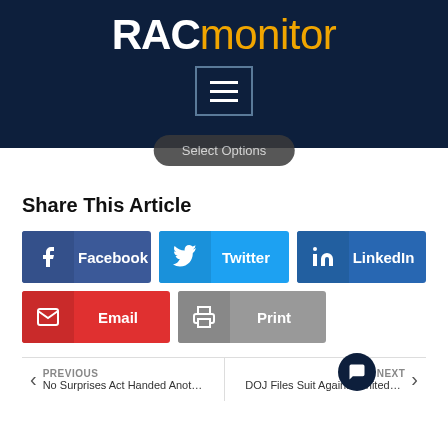[Figure (logo): RACmonitor logo in white and orange on dark navy background with hamburger menu icon]
Share This Article
[Figure (infographic): Social share buttons: Facebook (dark blue), Twitter (light blue), LinkedIn (blue), Email (red), Print (gray)]
PREVIOUS No Surprises Act Handed Another ... | NEXT DOJ Files Suit Against UnitedHea...